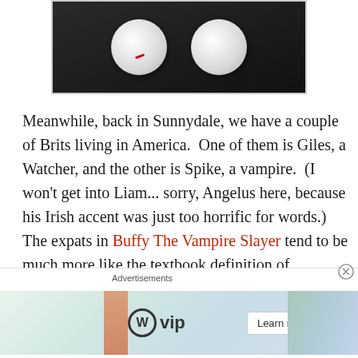[Figure (photo): Two white plates or bowls held by hands against a dark background]
Meanwhile, back in Sunnydale, we have a couple of Brits living in America.  One of them is Giles, a Watcher, and the other is Spike, a vampire.  (I won't get into Liam... sorry, Angelus here, because his Irish accent was just too horrific for words.)  The expats in Buffy The Vampire Slayer tend to be much more like the textbook definition of expatriate.  Giles is sent to Sunnydale by the Watcher's Council, and that's not all that different than me being sent to Germany for my job.  As for Spike, I suppose when you've lived for
[Figure (screenshot): Advertisement banner showing WordPress VIP logo and 'Learn more' button with decorative card graphics]